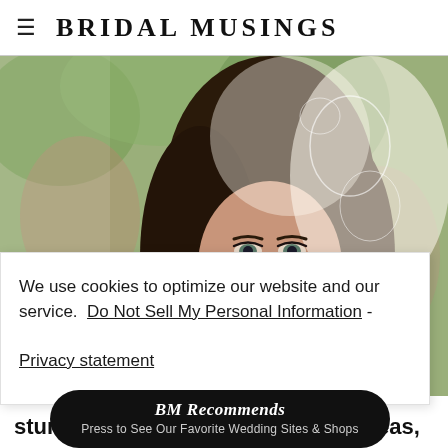BRIDAL MUSINGS
[Figure (photo): Close-up portrait of a woman with dark hair wearing a white lace veil draped over her head, with a soft bokeh background of pink and green foliage.]
We use cookies to optimize our website and our service.  Do Not Sell My Personal Information - Privacy statement
[Figure (infographic): Black rounded button/pill shape with text 'BM Recommends' in italic serif font and 'Press to See Our Favorite Wedding Sites & Shops' below in smaller text.]
stunning venue and all the great ideas,